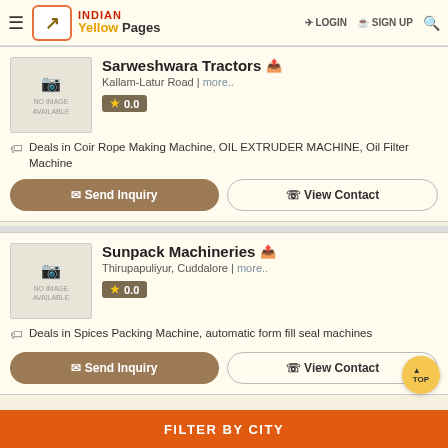Indian Yellow Pages | LOGIN | SIGN UP
Sarweshwara Tractors | Kallam-Latur Road | more.. | 0.0
Deals in Coir Rope Making Machine, OIL EXTRUDER MACHINE, Oil Filter Machine
Send Inquiry | View Contact
Sunpack Machineries | Thirupapuliyur, Cuddalore | more.. | 0.0
Deals in Spices Packing Machine, automatic form fill seal machines
Send Inquiry | View Contact
FILTER BY CITY